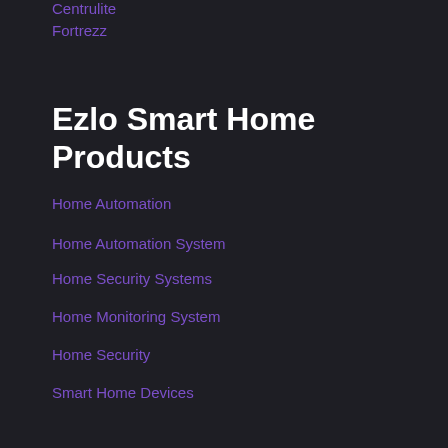Centrulite
Fortrezz
Ezlo Smart Home Products
Home Automation
Home Automation System
Home Security Systems
Home Monitoring System
Home Security
Smart Home Devices